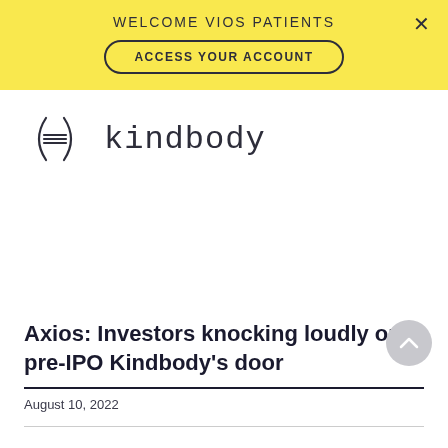WELCOME VIOS PATIENTS
ACCESS YOUR ACCOUNT
[Figure (logo): Kindbody logo with hamburger menu icon in parentheses and 'kindbody' wordmark in monospace font]
Axios: Investors knocking loudly on pre-IPO Kindbody's door
August 10, 2022